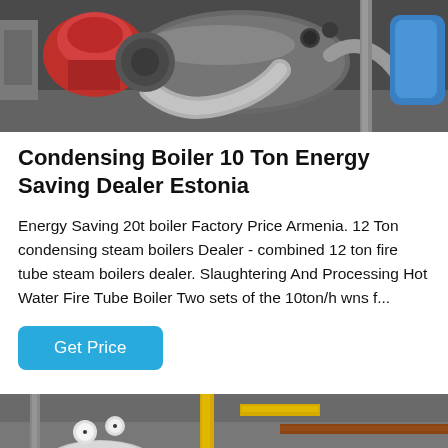[Figure (photo): Industrial condensing boiler with red burner head and large stainless steel pipes in a factory setting, with blue tank visible on the right.]
Condensing Boiler 10 Ton Energy Saving Dealer Estonia
Energy Saving 20t boiler Factory Price Armenia. 12 Ton condensing steam boilers Dealer - combined 12 ton fire tube steam boilers dealer. Slaughtering And Processing Hot Water Fire Tube Boiler Two sets of the 10ton/h wns f...
[Figure (other): Get Price button (blue rounded rectangle)]
[Figure (photo): Bottom portion of another industrial boiler installation with yellow pipes and pressure gauges visible.]